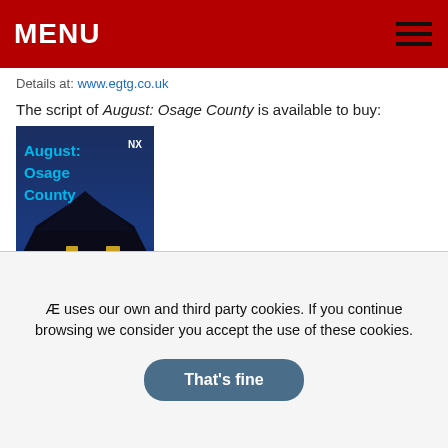MENU
Details at: www.egtg.co.uk
The script of August: Osage County is available to buy:
[Figure (photo): Book cover of August: Osage County by Tracy Letts, showing a house at night with lit windows against a dark blue sky, published by NHB with an NX badge]
Click on the above image to purchase through Amazon.
ENDS
Tags: Adam House, Amateurs, August: Osage County, Beverly
Æ uses our own and third party cookies. If you continue browsing we consider you accept the use of these cookies.